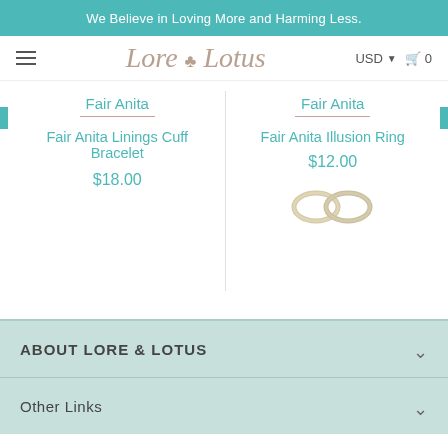We Believe in Loving More and Harming Less.
[Figure (logo): Lore & Lotus script logo with hamburger menu, USD currency selector, and cart icon with 0 items]
Fair Anita
Fair Anita Linings Cuff Bracelet
$18.00
Fair Anita
Fair Anita Illusion Ring
$12.00
[Figure (photo): Two silver/gold ring images for Fair Anita Illusion Ring]
ABOUT LORE & LOTUS
Other Links